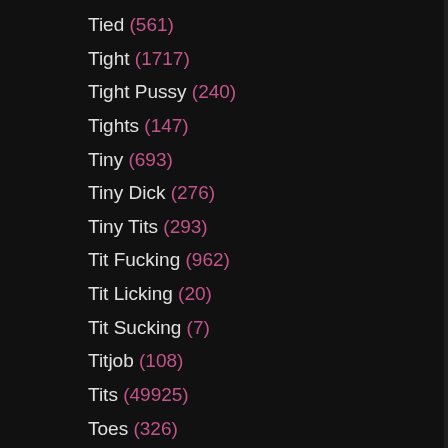Tied (561)
Tight (1717)
Tight Pussy (240)
Tights (147)
Tiny (693)
Tiny Dick (276)
Tiny Tits (293)
Tit Fucking (962)
Tit Licking (20)
Tit Sucking (7)
Titjob (108)
Tits (49925)
Toes (326)
Toilet (197)
Tongue (224)
To... (7...)